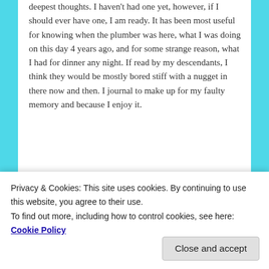deepest thoughts. I haven't had one yet, however, if I should ever have one, I am ready. It has been most useful for knowing when the plumber was here, what I was doing on this day 4 years ago, and for some strange reason, what I had for dinner any night. If read by my descendants, I think they would be mostly bored stiff with a nugget in there now and then. I journal to make up for my faulty memory and because I enjoy it.
Liked by 1 person
Reply ↓
Privacy & Cookies: This site uses cookies. By continuing to use this website, you agree to their use.
To find out more, including how to control cookies, see here: Cookie Policy
Close and accept
weather, and sometimes what she wore or